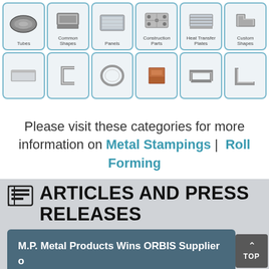[Figure (illustration): Product category grid showing two rows of six metal product images each: Row 1: Tubes, Common Shapes, Panels, Construction Parts, Heat Transfer Plates, Custom Shapes. Row 2: Six additional unlabeled metal product images including flat panel, C-channel, ring, copper bracket, track, and angle.]
Please visit these categories for more information on Metal Stampings | Roll Forming
ARTICLES AND PRESS RELEASES
M.P. Metal Products Wins ORBIS Supplier of the Month Award